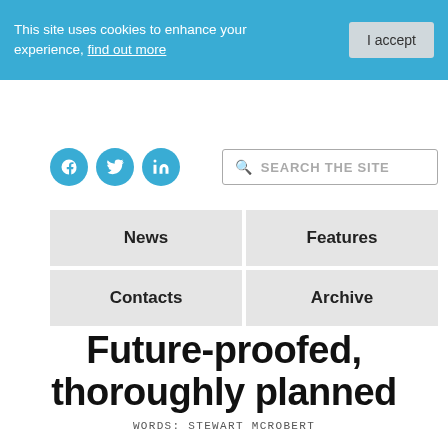This site uses cookies to enhance your experience, find out more
[Figure (infographic): Social media icons (Facebook, Twitter, LinkedIn) in blue circles, and a search bar with placeholder text 'SEARCH THE SITE']
| News | Features |
| Contacts | Archive |
Future-proofed, thoroughly planned
WORDS: STEWART MCROBERT